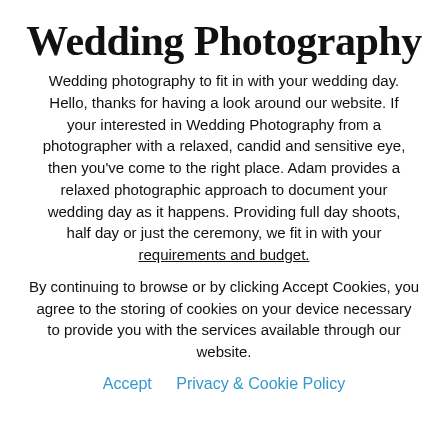Wedding Photography
Wedding photography to fit in with your wedding day. Hello, thanks for having a look around our website. If your interested in Wedding Photography from a photographer with a relaxed, candid and sensitive eye, then you've come to the right place. Adam provides a relaxed photographic approach to document your wedding day as it happens. Providing full day shoots, half day or just the ceremony, we fit in with your requirements and budget.
By continuing to browse or by clicking Accept Cookies, you agree to the storing of cookies on your device necessary to provide you with the services available through our website.
Accept   Privacy & Cookie Policy